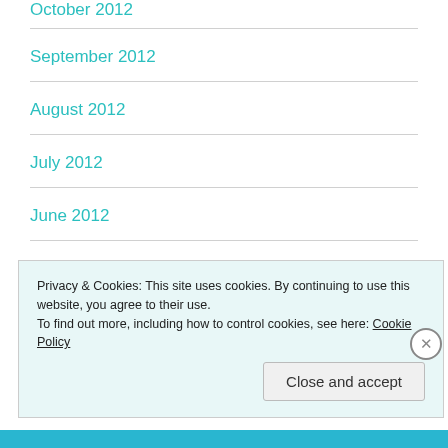October 2012
September 2012
August 2012
July 2012
June 2012
May 2012
Privacy & Cookies: This site uses cookies. By continuing to use this website, you agree to their use.
To find out more, including how to control cookies, see here: Cookie Policy
Close and accept